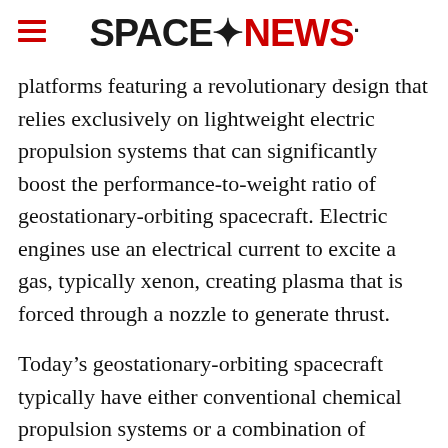SPACENEWS
platforms featuring a revolutionary design that relies exclusively on lightweight electric propulsion systems that can significantly boost the performance-to-weight ratio of geostationary-orbiting spacecraft. Electric engines use an electrical current to excite a gas, typically xenon, creating plasma that is forced through a nozzle to generate thrust.
Today’s geostationary-orbiting spacecraft typically have either conventional chemical propulsion systems or a combination of chemical and electric thrusters for orbit raising and station keeping. Chemical systems are typically used to raise a satellite from the highly elliptical geostationary transfer orbit, which is where most telecom satellites are deposited by their launch